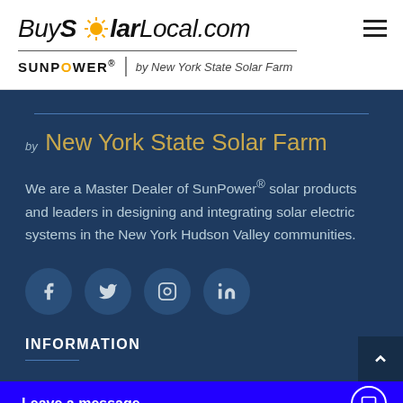[Figure (logo): BuySolarLocal.com logo with sun icon, and SunPower by New York State Solar Farm text below]
by New York State Solar Farm
We are a Master Dealer of SunPower® solar products and leaders in designing and integrating solar electric systems in the New York Hudson Valley communities.
[Figure (infographic): Social media icons: Facebook, Twitter, Instagram, LinkedIn]
INFORMATION
Leave a message